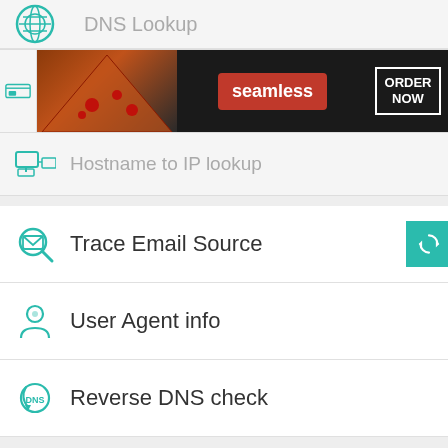[Figure (screenshot): DNS Lookup menu item with teal globe icon (partially visible at top)]
[Figure (photo): Seamless food delivery advertisement banner with pizza photo, seamless logo, and ORDER NOW button]
Hostname to IP lookup
Trace Email Source
User Agent info
Reverse DNS check
[Figure (logo): WhatIsMyIP.live logo in white on dark teal background with CLOSE button]
[Figure (photo): Ulta Beauty advertisement banner with makeup/beauty photos and SHOP NOW button]